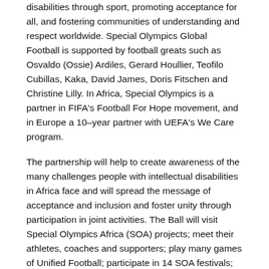disabilities through sport, promoting acceptance for all, and fostering communities of understanding and respect worldwide. Special Olympics Global Football is supported by football greats such as Osvaldo (Ossie) Ardiles, Gerard Houllier, Teofilo Cubillas, Kaka, David James, Doris Fitschen and Christine Lilly. In Africa, Special Olympics is a partner in FIFA's Football For Hope movement, and in Europe a 10–year partner with UEFA's We Care program.
The partnership will help to create awareness of the many challenges people with intellectual disabilities in Africa face and will spread the message of acceptance and inclusion and foster unity through participation in joint activities. The Ball will visit Special Olympics Africa (SOA) projects; meet their athletes, coaches and supporters; play many games of Unified Football; participate in 14 SOA festivals; and help SOA to break down negative stereotypes concerning the intellectually disabled. Our partner Alive & Kicking will deliver their durable and repairable balls to SOA programs.